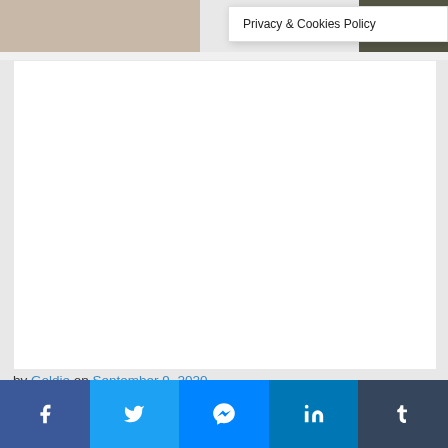[Figure (screenshot): Top bar with partial image and dark olive right section]
Privacy & Cookies Policy
[Figure (photo): Large white/blank content area placeholder]
by Goldie on September 9, 2020
Social share bar with Facebook, Twitter, Messenger, LinkedIn, Tumblr buttons